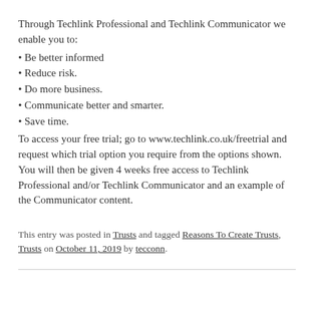Through Techlink Professional and Techlink Communicator we enable you to:
• Be better informed
• Reduce risk.
• Do more business.
• Communicate better and smarter.
• Save time.
To access your free trial; go to www.techlink.co.uk/freetrial and request which trial option you require from the options shown. You will then be given 4 weeks free access to Techlink Professional and/or Techlink Communicator and an example of the Communicator content.
This entry was posted in Trusts and tagged Reasons To Create Trusts, Trusts on October 11, 2019 by tecconn.